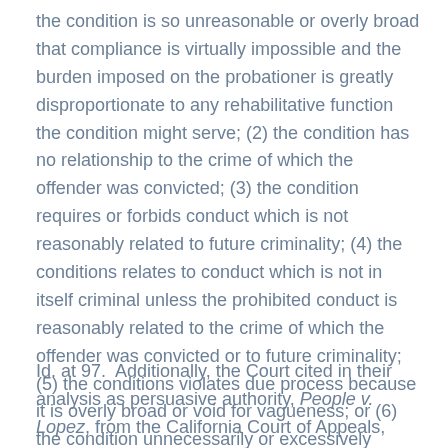the condition is so unreasonable or overly broad that compliance is virtually impossible and the burden imposed on the probationer is greatly disproportionate to any rehabilitative function the condition might serve; (2) the condition has no relationship to the crime of which the offender was convicted; (3) the condition requires or forbids conduct which is not reasonably related to future criminality; (4) the conditions relates to conduct which is not in itself criminal unless the prohibited conduct is reasonably related to the crime of which the offender was convicted or to future criminality; (5) the conditions violates due process because it is overly broad or void for vagueness; or (6) the condition unnecessarily or excessively tramples upon First Amendment rights of free association.
Id. at 97.  Additionally, the Court cited in their analysis as persuasive authority, People v. Lopez, from the California Court of Appeals, agreeing that no contact conditions of